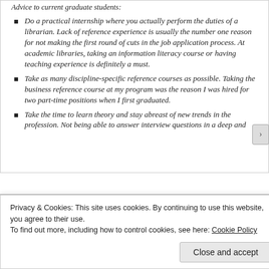Advice to current graduate students:
Do a practical internship where you actually perform the duties of a librarian. Lack of reference experience is usually the number one reason for not making the first round of cuts in the job application process. At academic libraries, taking an information literacy course or having teaching experience is definitely a must.
Take as many discipline-specific reference courses as possible. Taking the business reference course at my program was the reason I was hired for two part-time positions when I first graduated.
Take the time to learn theory and stay abreast of new trends in the profession. Not being able to answer interview questions in a deep and
Privacy & Cookies: This site uses cookies. By continuing to use this website, you agree to their use.
To find out more, including how to control cookies, see here: Cookie Policy
Close and accept